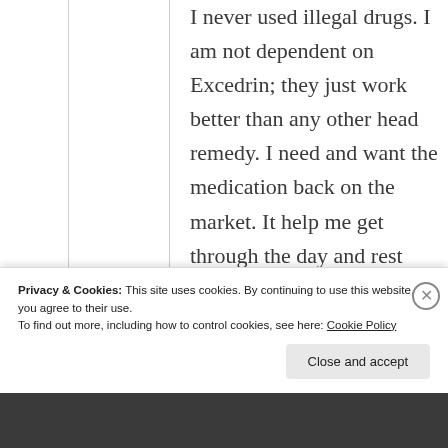I never used illegal drugs. I am not dependent on Excedrin; they just work better than any other head remedy. I need and want the medication back on the market. It help me get through the day and rest without pain.
Privacy & Cookies: This site uses cookies. By continuing to use this website, you agree to their use. To find out more, including how to control cookies, see here: Cookie Policy